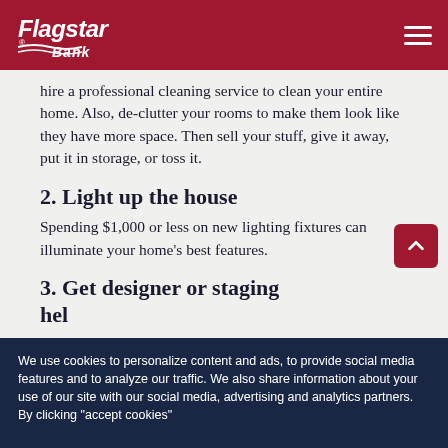Flagstar Bank
hire a professional cleaning service to clean your entire home. Also, de-clutter your rooms to make them look like they have more space. Then sell your stuff, give it away, put it in storage, or toss it.
2. Light up the house
Spending $1,000 or less on new lighting fixtures can illuminate your home’s best features.
3. Get designer or staging help
We use cookies to personalize content and ads, to provide social media features and to analyze our traffic. We also share information about your use of our site with our social media, advertising and analytics partners. By clicking “accept cookies”